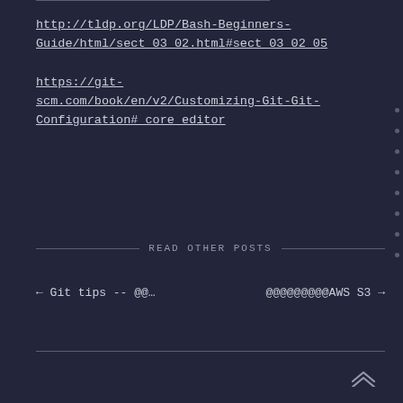http://tldp.org/LDP/Bash-Beginners-Guide/html/sect_03_02.html#sect_03_02_05
https://git-scm.com/book/en/v2/Customizing-Git-Git-Configuration#_core_editor
READ OTHER POSTS
← Git tips -- @@…
@@@@@@@@@AWS S3 →